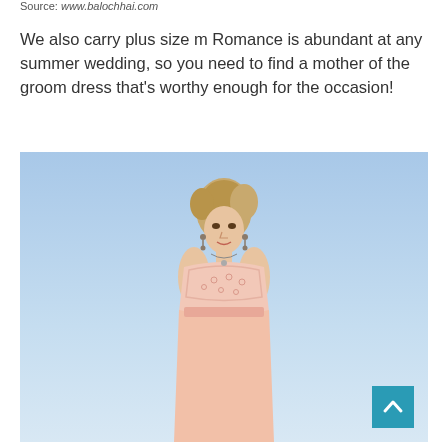Source: www.balochhai.com
We also carry plus size m Romance is abundant at any summer wedding, so you need to find a mother of the groom dress that's worthy enough for the occasion!
[Figure (photo): A blonde woman wearing a peach/blush lace sleeveless formal gown, photographed outdoors against a light blue sky background. The image shows her from approximately the waist up.]